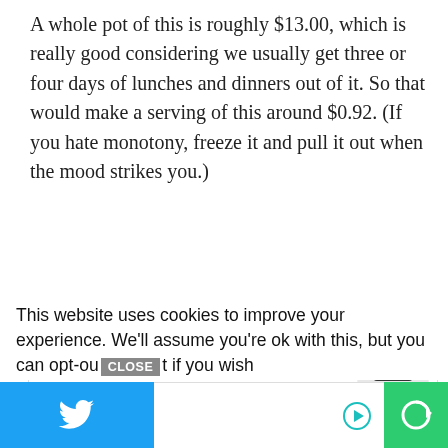A whole pot of this is roughly $13.00, which is really good considering we usually get three or four days of lunches and dinners out of it. So that would make a serving of this around $0.92. (If you hate monotony, freeze it and pull it out when the mood strikes you.)
[Figure (infographic): Advertisement banner: 22 Words logo (teal circle) with text '37 ITEMS PEOPLE LOVE TO PURCHASE ON AMAZON' and image of wireless earbuds/headphones]
A serving size is 2 cups, which is about 300 calories, give or take. And it is quite filling.
I can't even get through a whole bowl.
This website uses cookies to improve your experience. We'll assume you're ok with this, but you can opt-out if you wish.
[Figure (screenshot): Bottom navigation bar with Twitter icon (blue), ad area with play button, and green camera/refresh icon]